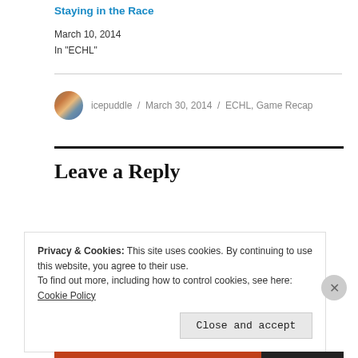Staying in the Race
March 10, 2014
In "ECHL"
icepuddle / March 30, 2014 / ECHL, Game Recap
Leave a Reply
Privacy & Cookies: This site uses cookies. By continuing to use this website, you agree to their use.
To find out more, including how to control cookies, see here: Cookie Policy
Close and accept